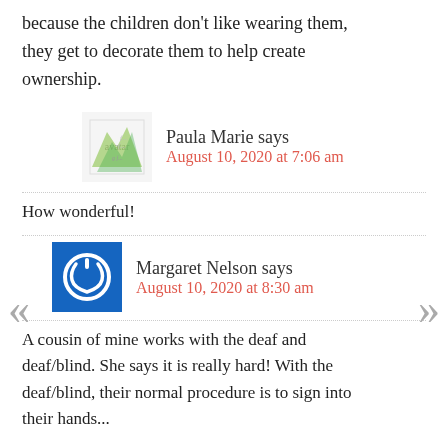because the children don't like wearing them, they get to decorate them to help create ownership.
Paula Marie says
August 10, 2020 at 7:06 am
How wonderful!
Margaret Nelson says
August 10, 2020 at 8:30 am
A cousin of mine works with the deaf and deaf/blind. She says it is really hard! With the deaf/blind, their normal procedure is to sign into their hands...